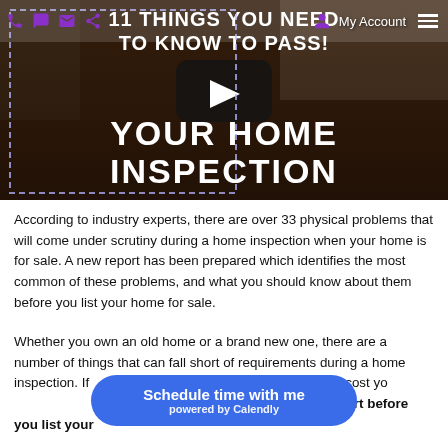My Account
[Figure (screenshot): Video thumbnail with white bold text overlay reading '11 THINGS YOU NEED TO KNOW TO PASS! YOUR HOME INSPECTION' on a dark kitchen background, with a YouTube-style play button in the center and a dashed selection rectangle.]
According to industry experts, there are over 33 physical problems that will come under scrutiny during a home inspection when your home is for sale. A new report has been prepared which identifies the most common of these problems, and what you should know about them before you list your home for sale.
Whether you own an old home or a brand new one, there are a number of things that can fall short of requirements during a home inspection. If any of these 11 items could cost you... that's why it's critical that you read this report before you list your